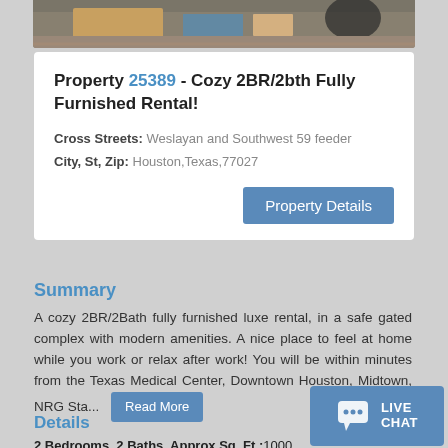[Figure (photo): Top portion of an interior room photo showing a person and furniture on a wood floor]
Property 25389 - Cozy 2BR/2bth Fully Furnished Rental!
Cross Streets: Weslayan and Southwest 59 feeder
City, St, Zip: Houston,Texas,77027
Property Details
Summary
A cozy 2BR/2Bath fully furnished luxe rental, in a safe gated complex with modern amenities. A nice place to feel at home while you work or relax after work! You will be within minutes from the Texas Medical Center, Downtown Houston, Midtown, NRG Sta...
Read More
Details
2 Bedrooms, 2 Baths, Approx Sq. Ft.:1000
[Figure (illustration): Live Chat button with speech bubble icon]